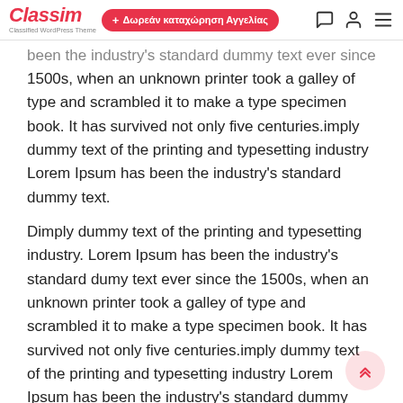Classim | Classified WordPress Theme | + Δωρεάν καταχώρηση Αγγελίας
been the industry's standard dummy text ever since the 1500s, when an unknown printer took a galley of type and scrambled it to make a type specimen book. It has survived not only five centuries.imply dummy text of the printing and typesetting industry Lorem Ipsum has been the industry's standard dummy text.
Dimply dummy text of the printing and typesetting industry. Lorem Ipsum has been the industry's standard dumy text ever since the 1500s, when an unknown printer took a galley of type and scrambled it to make a type specimen book. It has survived not only five centuries.imply dummy text of the printing and typesetting industry Lorem Ipsum has been the industry's standard dummy text. Dimply dummy text of